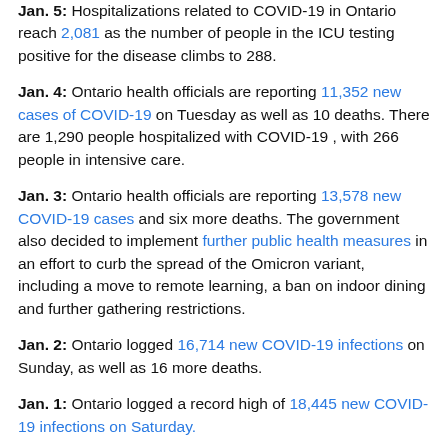Jan. 5: Hospitalizations related to COVID-19 in Ontario reach 2,081 as the number of people in the ICU testing positive for the disease climbs to 288.
Jan. 4: Ontario health officials are reporting 11,352 new cases of COVID-19 on Tuesday as well as 10 deaths. There are 1,290 people hospitalized with COVID-19 , with 266 people in intensive care.
Jan. 3: Ontario health officials are reporting 13,578 new COVID-19 cases and six more deaths. The government also decided to implement further public health measures in an effort to curb the spread of the Omicron variant, including a move to remote learning, a ban on indoor dining and further gathering restrictions.
Jan. 2: Ontario logged 16,714 new COVID-19 infections on Sunday, as well as 16 more deaths.
Jan. 1: Ontario logged a record high of 18,445 new COVID-19 infections on Saturday.